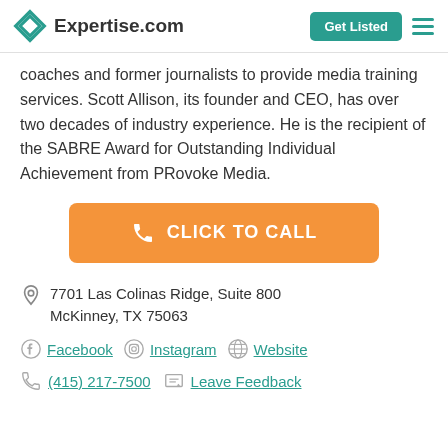Expertise.com — Get Listed
coaches and former journalists to provide media training services. Scott Allison, its founder and CEO, has over two decades of industry experience. He is the recipient of the SABRE Award for Outstanding Individual Achievement from PRovoke Media.
[Figure (other): Orange button with phone icon and text CLICK TO CALL]
7701 Las Colinas Ridge, Suite 800
McKinney, TX 75063
Facebook  Instagram  Website
(415) 217-7500  Leave Feedback